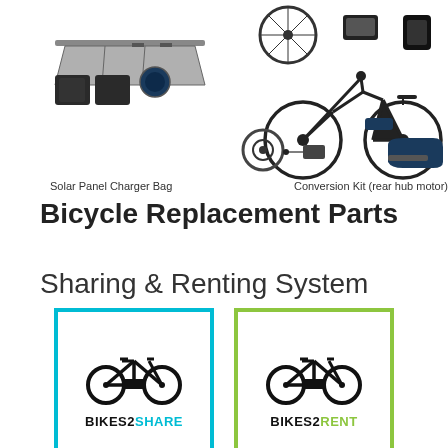[Figure (photo): Solar panel charger bag product photo]
Solar Panel Charger Bag
[Figure (photo): Bicycle conversion kit (rear hub motor) with components laid out]
Conversion Kit (rear hub motor)
Bicycle Replacement Parts
Sharing & Renting System
[Figure (logo): BIKES2SHARE logo in blue border box with bicycle icon]
[Figure (logo): BIKES2RENT logo in green border box with bicycle icon]